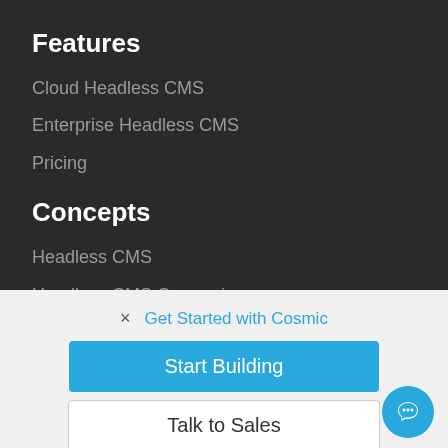Features
Cloud Headless CMS
Enterprise Headless CMS
Pricing
Concepts
Headless CMS
Headless CMS Comparison
× Get Started with Cosmic
Start Building
Talk to Sales